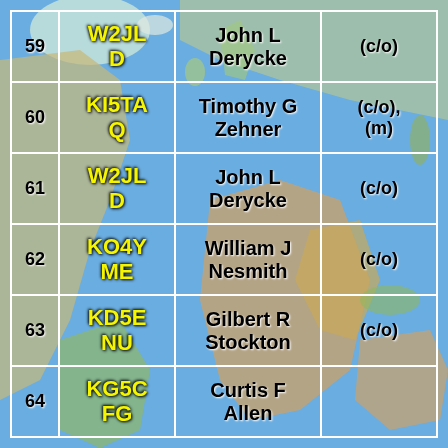| # | Callsign | Name | Info |
| --- | --- | --- | --- |
| 59 | W2JLD | John L Derycke | (c/o) |
| 60 | KI5TAQ | Timothy G Zehner | (c/o), (m) |
| 61 | W2JLD | John L Derycke | (c/o) |
| 62 | KO4YME | William J Nesmith | (c/o) |
| 63 | KD5ENU | Gilbert R Stockton | (c/o) |
| 64 | KG5CFG | Curtis F Allen |  |